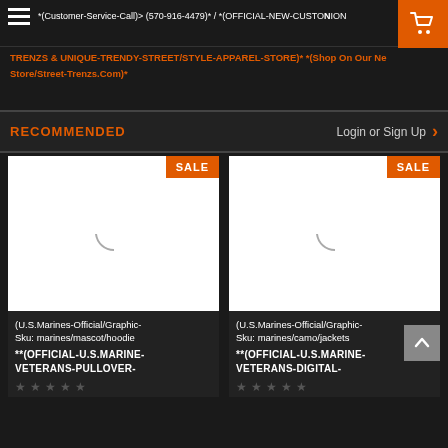*(Customer-Service-Call)> (570-916-4479)* / *(OFFICIAL-NEW-CUSTOMER-ION
TRENZS & UNIQUE-TRENDY-STREET/STYLE-APPAREL-STORE)* *(Shop On Our New Store/Street-Trenzs.Com)*
RECOMMENDED   Login or Sign Up >
[Figure (screenshot): Product card 1: White product image placeholder with loading spinner, SALE badge in orange top-right. Product: (U.S.Marines-Official/Graphic- Sku: marines/mascot/hoodie **(OFFICIAL-U.S.MARINE-VETERANS-PULLOVER-** with star ratings.]
[Figure (screenshot): Product card 2: White product image placeholder with loading spinner, SALE badge in orange top-right. Product: (U.S.Marines-Official/Graphic- Sku: marines/camo/jackets **(OFFICIAL-U.S.MARINE-VETERANS-DIGITAL-** with star ratings.]